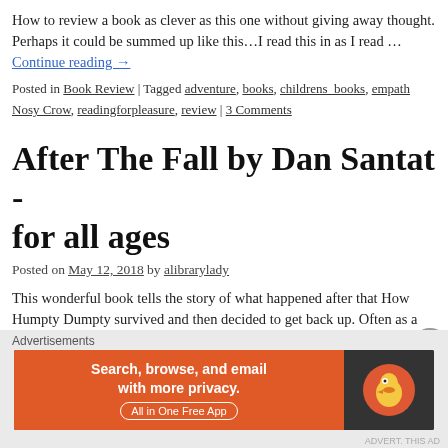How to review a book as clever as this one without giving away thought. Perhaps it could be summed up like this…I read this in as I read … Continue reading →
Posted in Book Review | Tagged adventure, books, childrens_books, empath Nosy Crow, readingforpleasure, review | 3 Comments
After The Fall by Dan Santat - for all ages
Posted on May 12, 2018 by alibrarylady
This wonderful book tells the story of what happened after that How Humpty Dumpty survived and then decided to get back up. Often as a school librarian I have said … Continue reading →
Posted in Book Review | Tagged books, childrens_books, empath, fear
Advertisements
[Figure (other): DuckDuckGo advertisement banner: Search, browse, and email with more privacy. All in One Free App. Shows DuckDuckGo duck logo on dark background.]